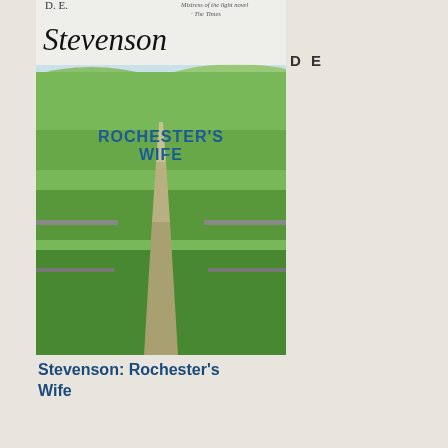[Figure (photo): Book cover: D.E. Stevenson - Rochester's Wife, showing a country path through green fields]
D E
Stevenson: Rochester's Wife
[Figure (photo): Book cover: D.E. Stevenson - The Baker's Daughter, showing a woman in 1940s clothing]
D E
Stevenson: The Baker's Daughter
[Figure (photo): Partial book cover, dark image]
James
ord
l
thin
in
this
cas
do
sta
fro
the
firs
one
and
wo
thr

l
hav
just
ren
the
all
afte